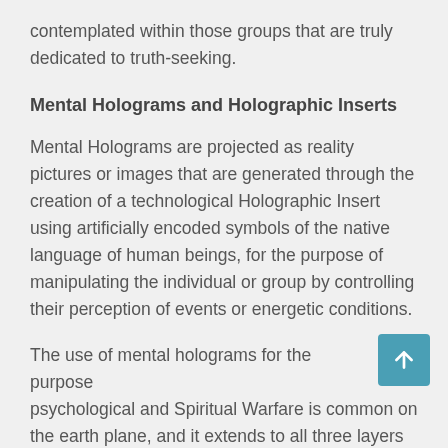contemplated within those groups that are truly dedicated to truth-seeking.
Mental Holograms and Holographic Inserts
Mental Holograms are projected as reality pictures or images that are generated through the creation of a technological Holographic Insert using artificially encoded symbols of the native language of human beings, for the purpose of manipulating the individual or group by controlling their perception of events or energetic conditions.
The use of mental holograms for the purpose psychological and Spiritual Warfare is common on the earth plane, and it extends to all three layers of the earth reality fields in which a possible virtual